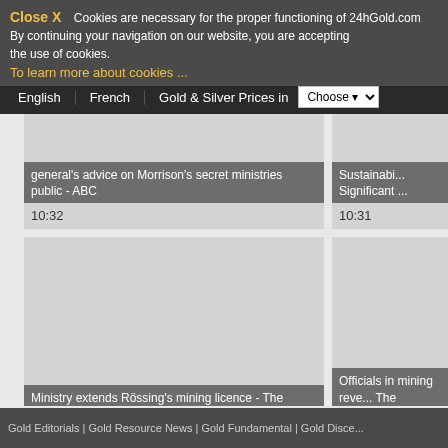Close X  Cookies are necessary for the proper functioning of 24hGold.com By continuing your navigation on our website, you are accepting the use of cookies.
To learn more about cookies ...
English  French  Gold & Silver Prices in  Choose
general's advice on Morrison's secret ministries public - ABC  10:32
Sustainability... Significant...  10:31
Ministry extends Rössing's mining licence - The Namibian  10:05
Officials in mining reve... The Hitavad...  09:55
Gold Editorials | Gold Resource News | Gold Fundamental | Gold Disce...